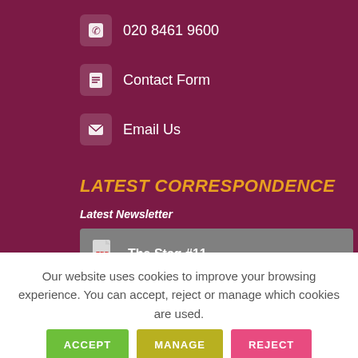020 8461 9600
Contact Form
Email Us
LATEST CORRESPONDENCE
Latest Newsletter
The Stag #11
Latest All of School Letter
Our website uses cookies to improve your browsing experience. You can accept, reject or manage which cookies are used.
ACCEPT
MANAGE
REJECT
Cookie Policy